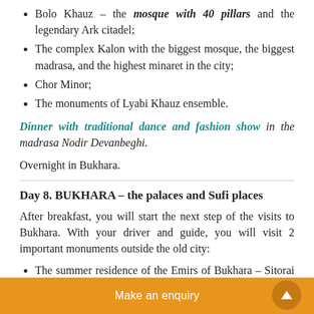Bolo Khauz – the mosque with 40 pillars and the legendary Ark citadel;
The complex Kalon with the biggest mosque, the biggest madrasa, and the highest minaret in the city;
Chor Minor;
The monuments of Lyabi Khauz ensemble.
Dinner with traditional dance and fashion show in the madrasa Nodir Devanbeghi.
Overnight in Bukhara.
Day 8. BUKHARA – the palaces and Sufi places
After breakfast, you will start the next step of the visits to Bukhara. With your driver and guide, you will visit 2 important monuments outside the old city:
The summer residence of the Emirs of Bukhara – Sitorai Mokhi Khossa with its Administrative Palace
Make an enquiry